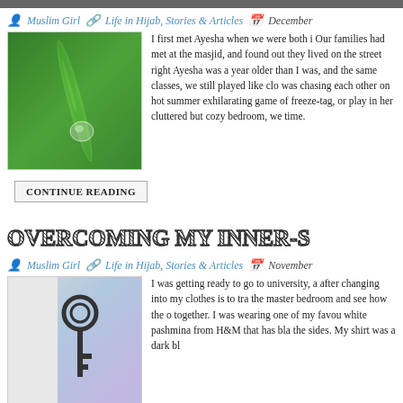Muslim Girl  •  Life in Hijab, Stories & Articles  •  December
[Figure (photo): Close-up photo of a green plant stem with a water droplet]
I first met Ayesha when we were both i... Our families had met at the masjid, and... found out they lived on the street right... Ayesha was a year older than I was, and... the same classes, we still played like clo... was chasing each other on hot summer... exhilarating game of freeze-tag, or play... in her cluttered but cozy bedroom, we ... time.
CONTINUE READING
OVERCOMING MY INNER-S
Muslim Girl  •  Life in Hijab, Stories & Articles  •  November
[Figure (photo): Photo of a key against a blue and purple blurred background]
I was getting ready to go to university, a... after changing into my clothes is to tra... the master bedroom and see how the o... together. I was wearing one of my favou... white pashmina from H&M that has bla... the sides. My shirt was a dark bl...